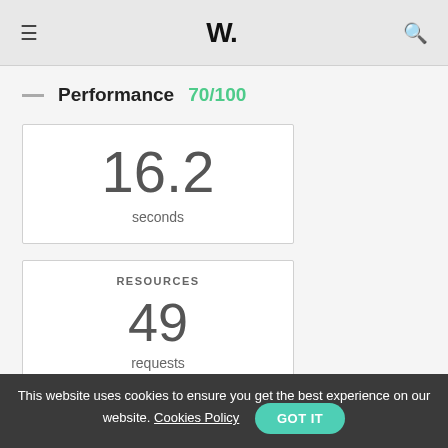≡  W.  🔍
Performance  70/100
16.2 seconds
RESOURCES
49
requests
BYTES IN
This website uses cookies to ensure you get the best experience on our website. Cookies Policy  GOT IT